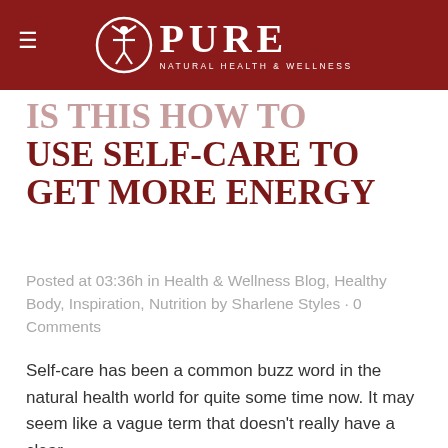[Figure (logo): PURE Natural Health & Wellness logo with circular icon of human figure and text]
IS THIS HOW TO USE SELF-CARE TO GET MORE ENERGY
Posted at 03:36h in Health & Wellness Blog, Healthy Body, Inspiration, Nutrition by Sharlene Styles · 0 Comments
Self-care has been a common buzz word in the natural health world for quite some time now. It may seem like a vague term that doesn't really have a clear